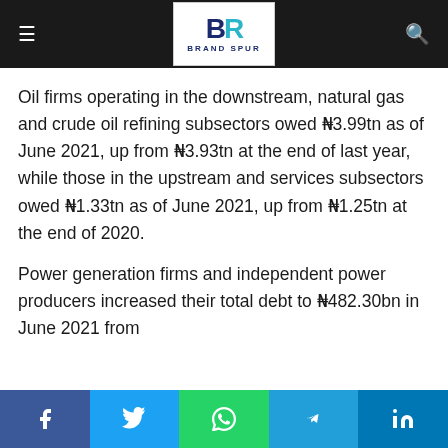Brand Spur
Oil firms operating in the downstream, natural gas and crude oil refining subsectors owed N3.99tn as of June 2021, up from N3.93tn at the end of last year, while those in the upstream and services subsectors owed N1.33tn as of June 2021, up from N1.25tn at the end of 2020.
Power generation firms and independent power producers increased their total debt to N482.30bn in June 2021 from